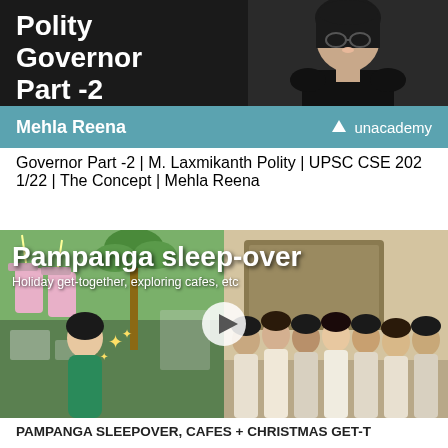[Figure (screenshot): Unacademy video thumbnail showing text 'Polity Governor Part -2' on dark background with woman instructor in black uniform, and teal name bar showing 'Mehla Reena' and Unacademy logo]
Governor Part -2 | M. Laxmikanth Polity | UPSC CSE 2021/22 | The Concept | Mehla Reena
[Figure (screenshot): YouTube video thumbnail titled 'Pampanga sleep-over' with subtitle 'Holiday get-together, exploring cafes, etc', showing split image of woman in green dress on left and group of friends on right with play button overlay]
PAMPANGA SLEEPOVER, CAFES + CHRISTMAS GET-T